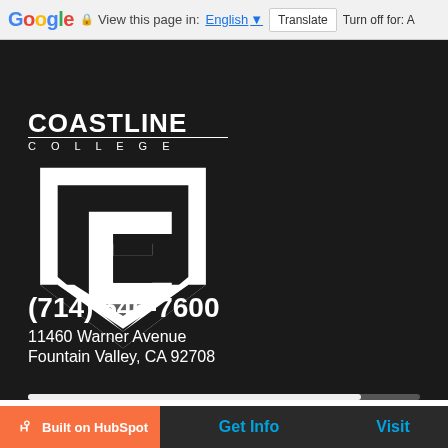Google  View this page in: English  Translate  Turn off for: A
[Figure (logo): Coastline College shield logo — white C-shaped mark on dark background with COASTLINE COLLEGE text above]
(714) 546-7600
11460 Warner Avenue
Fountain Valley, CA 92708
Built on HubSpot
Get Info
Visit